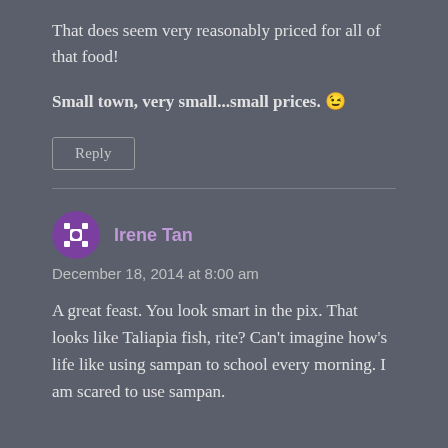That does seem very reasonably priced for all of that food!
Small town, very small...small prices. 😉
Reply
Irene Tan
December 18, 2014 at 8:00 am
A great feast. You look smart in the pix. That looks like Taliapia fish, rite? Can't imagine how's life like using sampan to school every morning. I am scared to use sampan.